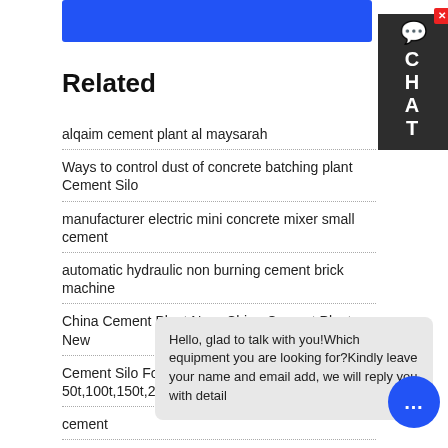[Figure (other): Blue button/bar at top of page]
[Figure (other): Chat widget on right side with close button, message bubble icon, and letters C H A T]
Related
alqaim cement plant al maysarah
Ways to control dust of concrete batching plant Cement Silo
manufacturer electric mini concrete mixer small cement
automatic hydraulic non burning cement brick machine
China Cement Plant New, China Cement Plant New
Cement Silo For Concrete Batching Plant 50t,100t,150t,200t,300t,500t,1000t,1
cement
6.5 Cbm Concrete Mixer Truck Dimensions Brand New Cement
[Figure (other): Chat popup with text: Hello, glad to talk with you!Which equipment you are looking for?Kindly leave your name and email add, we will reply you with detail]
[Figure (other): Blue circular chat FAB button with three dots]